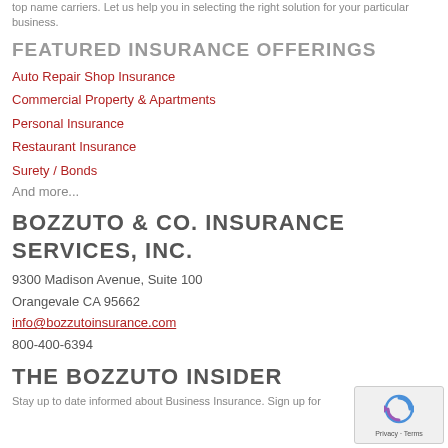top name carriers. Let us help you in selecting the right solution for your particular business.
FEATURED INSURANCE OFFERINGS
Auto Repair Shop Insurance
Commercial Property & Apartments
Personal Insurance
Restaurant Insurance
Surety / Bonds
And more...
BOZZUTO & CO. INSURANCE SERVICES, INC.
9300 Madison Avenue, Suite 100
Orangevale CA 95662
info@bozzutoinsurance.com
800-400-6394
THE BOZZUTO INSIDER
Stay up to date informed about Business Insurance. Sign up for...